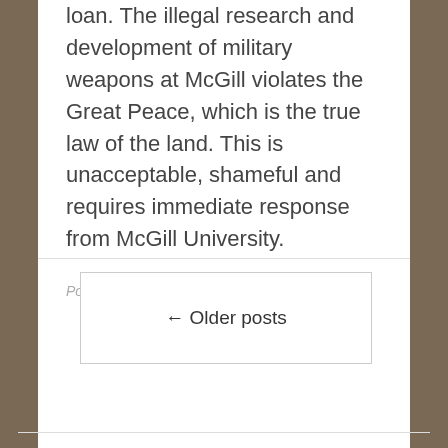loan. The illegal research and development of military weapons at McGill violates the Great Peace, which is the true law of the land. This is unacceptable, shameful and requires immediate response from McGill University.
Posted on October 13, 2015 by admin
← Older posts